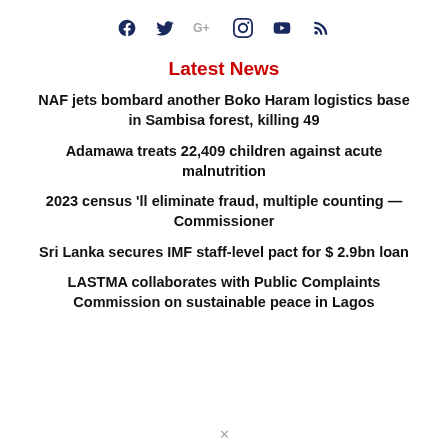[Figure (other): Social media icons row: Facebook, Twitter, Google+, Instagram, YouTube, RSS]
Latest News
NAF jets bombard another Boko Haram logistics base in Sambisa forest, killing 49
Adamawa treats 22,409 children against acute malnutrition
2023 census 'll eliminate fraud, multiple counting — Commissioner
Sri Lanka secures IMF staff-level pact for $ 2.9bn loan
LASTMA collaborates with Public Complaints Commission on sustainable peace in Lagos